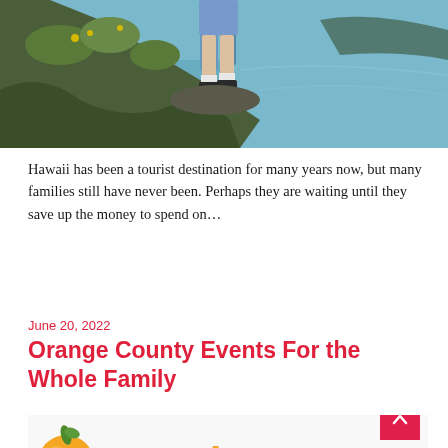[Figure (photo): Person standing on rocky coastal cliff with green vegetation and blue ocean in background, viewed from legs down, wearing shorts and hiking boots]
Hawaii has been a tourist destination for many years now, but many families still have never been. Perhaps they are waiting until they save up the money to spend on…
June 20, 2022
Orange County Events For the Whole Family
[Figure (logo): OCHelpers logo with orange fruit icon and colorful text spelling OCHelpers]